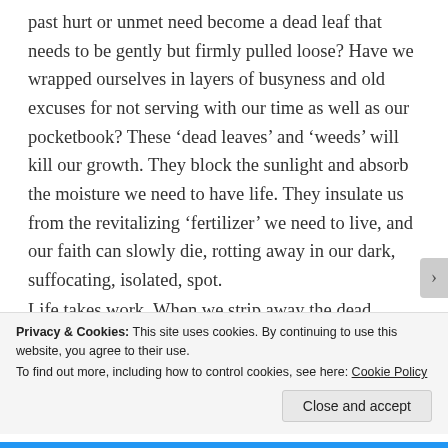past hurt or unmet need become a dead leaf that needs to be gently but firmly pulled loose? Have we wrapped ourselves in layers of busyness and old excuses for not serving with our time as well as our pocketbook? These ‘dead leaves’ and ‘weeds’ will kill our growth. They block the sunlight and absorb the moisture we need to have life. They insulate us from the revitalizing ‘fertilizer’ we need to live, and our faith can slowly die, rotting away in our dark, suffocating, isolated, spot.
Life takes work. When we strip away the dead leaves, what will be left? Our faith. Our trust in God. Our saving knowledge that He loves us, has a plan for us and desires
Privacy & Cookies: This site uses cookies. By continuing to use this website, you agree to their use.
To find out more, including how to control cookies, see here: Cookie Policy